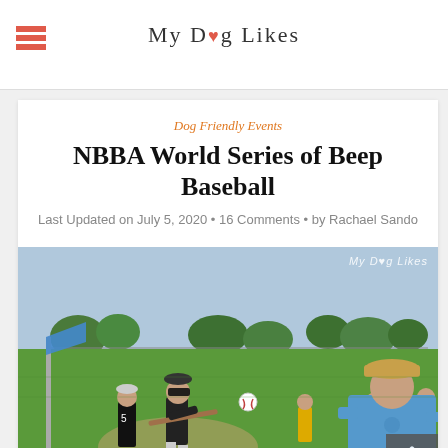My Dog Likes
Dog Friendly Events
NBBA World Series of Beep Baseball
Last Updated on July 5, 2020 • 16 Comments • by Rachael Sando
[Figure (photo): Outdoor beep baseball game on a grass field. A batter wearing a blindfold swings at a ball, assisted by a sighted pitcher/guide. Players in yellow and black uniforms are visible in the outfield. A man in a light blue polo shirt watches from the right. The My Dog Likes watermark appears in the top right corner.]